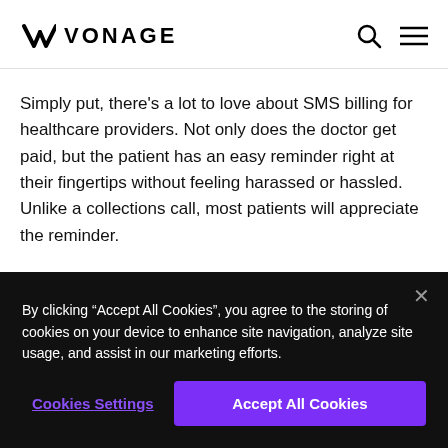VONAGE
Simply put, there’s a lot to love about SMS billing for healthcare providers. Not only does the doctor get paid, but the patient has an easy reminder right at their fingertips without feeling harassed or hassled. Unlike a collections call, most patients will appreciate the reminder.
By clicking “Accept All Cookies”, you agree to the storing of cookies on your device to enhance site navigation, analyze site usage, and assist in our marketing efforts.
Cookies Settings
Accept All Cookies